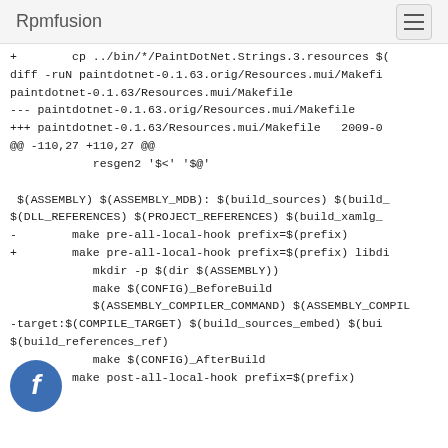Rpmfusion
+ cp ../bin/*/PaintDotNet.Strings.3.resources $(
diff -ruN paintdotnet-0.1.63.orig/Resources.mui/Makefi
paintdotnet-0.1.63/Resources.mui/Makefile
--- paintdotnet-0.1.63.orig/Resources.mui/Makefile
+++ paintdotnet-0.1.63/Resources.mui/Makefile   2009-0
@@ -110,27 +110,27 @@
        resgen2 '$<' '$@'

 $(ASSEMBLY) $(ASSEMBLY_MDB): $(build_sources) $(build_
$(DLL_REFERENCES) $(PROJECT_REFERENCES) $(build_xamlg_
-       make pre-all-local-hook prefix=$(prefix)
+       make pre-all-local-hook prefix=$(prefix) libdi
        mkdir -p $(dir $(ASSEMBLY))
        make $(CONFIG)_BeforeBuild
        $(ASSEMBLY_COMPILER_COMMAND) $(ASSEMBLY_COMPIL
-target:$(COMPILE_TARGET) $(build_sources_embed) $(bui
$(build_references_ref)
        make $(CONFIG)_AfterBuild
-       make post-all-local-hook prefix=$(prefix)
[Figure (logo): Fedora logo - blue circular icon with stylized 'f' letter]